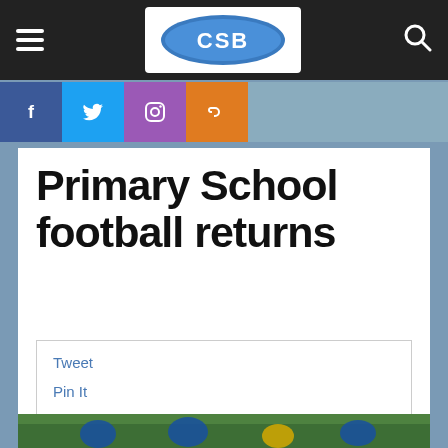CSB — Navigation bar with hamburger menu and search icon
[Figure (logo): CSB logo — blue oval with white CSB text]
[Figure (infographic): Social media icons bar: Facebook (blue), Twitter (light blue), Instagram (pink/purple), RSS (orange), followed by a grey search box]
Primary School football returns
Tweet
Pin It
[Figure (photo): Girls playing football/soccer on a green field, wearing blue and white kits, with palm trees and buildings in the background]